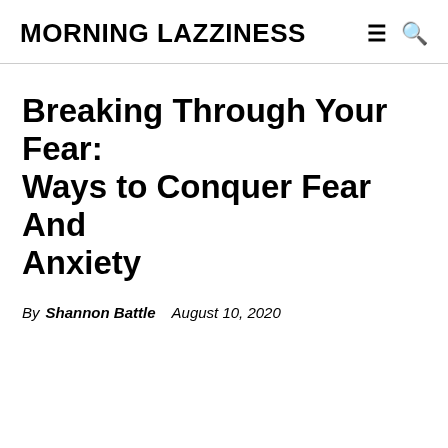MORNING LAZZINESS
Breaking Through Your Fear: Ways to Conquer Fear And Anxiety
By Shannon Battle   August 10, 2020